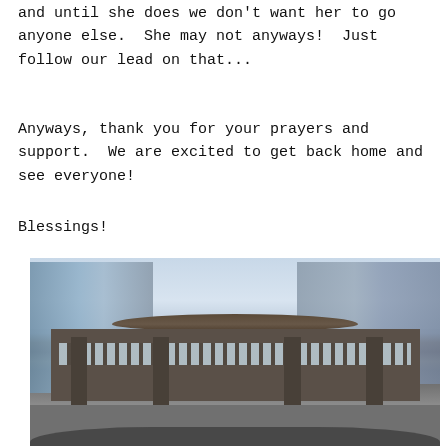and until she does we don't want her to go anyone else.  She may not anyways!  Just follow our lead on that...
Anyways, thank you for your prayers and support.  We are excited to get back home and see everyone!
Blessings!
[Figure (photo): Exterior photo of a large commercial or transit building with glass tower skyscrapers in the background, a distinctive circular saucer-shaped canopy over the entrance, stone columns, storefront windows with signage, and a crowd of pedestrians at street level.]